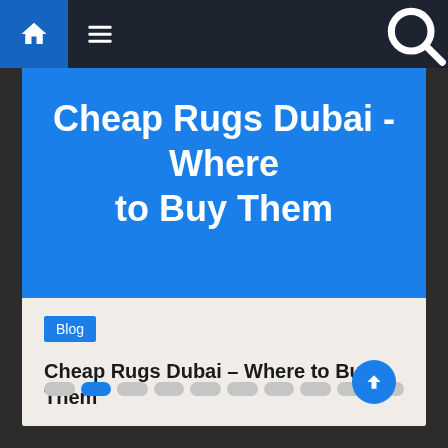Navigation bar with home, menu, and search icons
[Figure (screenshot): Blue hero image area with white bold text: Cheap Rugs Dubai - Where to Buy Them]
Cheap Rugs Dubai - Where to Buy Them
Blog
Cheap Rugs Dubai – Where to Buy Them